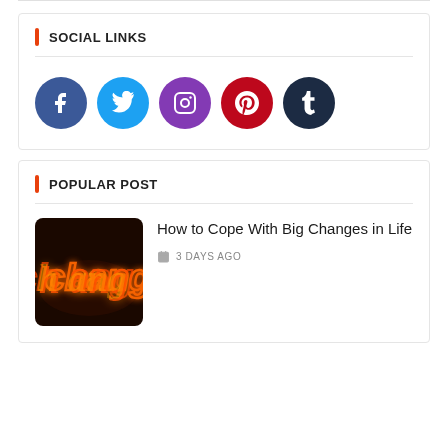SOCIAL LINKS
[Figure (infographic): Five social media icon circles: Facebook (blue), Twitter (light blue), Instagram (purple), Pinterest (red), Tumblr (dark navy)]
POPULAR POST
[Figure (photo): Neon sign spelling 'change' in orange/red neon lettering on dark background]
How to Cope With Big Changes in Life
3 DAYS AGO